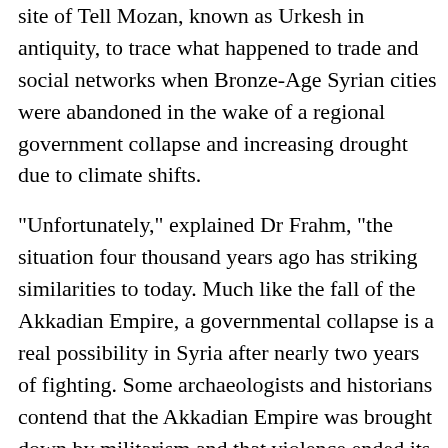site of Tell Mozan, known as Urkesh in antiquity, to trace what happened to trade and social networks when Bronze-Age Syrian cities were abandoned in the wake of a regional government collapse and increasing drought due to climate shifts.
"Unfortunately," explained Dr Frahm, "the situation four thousand years ago has striking similarities to today. Much like the fall of the Akkadian Empire, a governmental collapse is a real possibility in Syria after nearly two years of fighting. Some archaeologists and historians contend that the Akkadian Empire was brought down by militarism and that violence ended its central economic role in the region.
"Additionally, farming in north-eastern Syria today relies principally on rainfall rather than irrigation, just as in the Bronze Age, and climate change has already stressed farming there. But it isn't just climate change that is the problem. Farming, rather than herding, has been encouraged